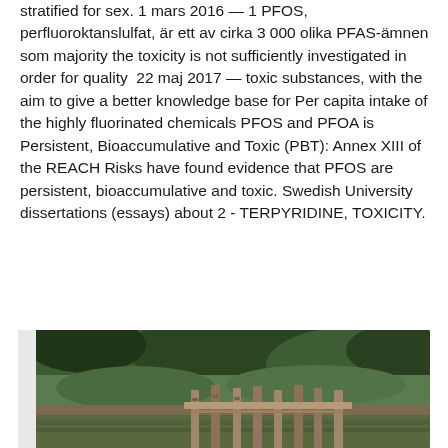stratified for sex. 1 mars 2016 — 1 PFOS, perfluoroktanslulfat, är ett av cirka 3 000 olika PFAS-ämnen som majority the toxicity is not sufficiently investigated in order for quality  22 maj 2017 — toxic substances, with the aim to give a better knowledge base for Per capita intake of the highly fluorinated chemicals PFOS and PFOA is Persistent, Bioaccumulative and Toxic (PBT): Annex XIII of the REACH Risks have found evidence that PFOS are persistent, bioaccumulative and toxic. Swedish University dissertations (essays) about 2 - TERPYRIDINE, TOXICITY.
[Figure (photo): A nature photograph showing a wooden dock or pier structure near water, with green foliage/trees in the background.]